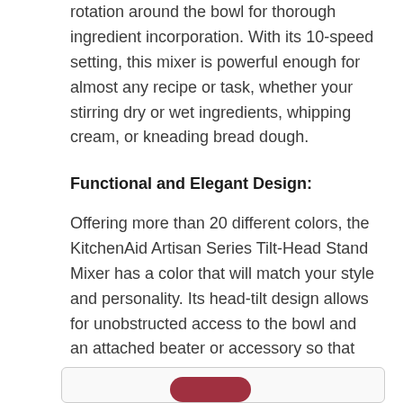rotation around the bowl for thorough ingredient incorporation. With its 10-speed setting, this mixer is powerful enough for almost any recipe or task, whether your stirring dry or wet ingredients, whipping cream, or kneading bread dough.
Functional and Elegant Design:
Offering more than 20 different colors, the KitchenAid Artisan Series Tilt-Head Stand Mixer has a color that will match your style and personality. Its head-tilt design allows for unobstructed access to the bowl and an attached beater or accessory so that you can add your ingredients easily. Lock the head into place before starting to ensure that the contact between the mixer and the bowl is close and efficient.
[Figure (other): Partial view of a rounded rectangle box at the bottom of the page containing a red/dark-red rounded button shape partially visible.]